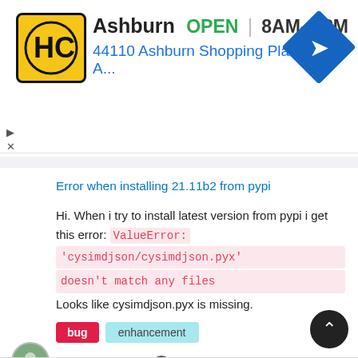[Figure (screenshot): Ad banner for HC hardware store in Ashburn showing logo, OPEN status, hours 8AM-8PM, address 44110 Ashburn Shopping Plaza 190, A..., and navigation arrow icon]
Error when installing 21.11b2 from pypi
Hi. When i try to install latest version from pypi i get this error: ValueError: 'cysimdjson/cysimdjson.pyx' doesn't match any files Looks like cysimdjson.pyx is missing.
bug
enhancement
opened by amirotin 💬 2